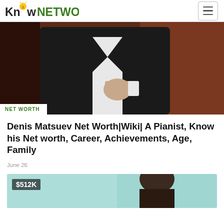Know NETWORTH
[Figure (photo): A man in a black suit with white shirt, torso/hand visible, dark reddish-brown background. NET WORTH tag overlay at bottom left.]
NET WORTH
Denis Matsuev Net Worth|Wiki| A Pianist, Know his Net worth, Career, Achievements, Age, Family
June 26
[Figure (photo): Partial view of a person, teal/mint background, with a $512K price overlay label at top left.]